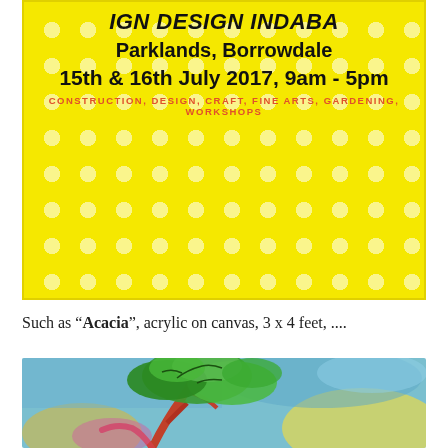[Figure (illustration): Yellow banner with white polka dot pattern for IGN Design Indaba event at Parklands, Borrowdale, 15th & 16th July 2017, 9am-5pm. Categories listed: Construction, Design, Craft, Fine Arts, Gardening, Workshops.]
Such as “Acacia”, acrylic on canvas, 3 x 4 feet, ....
[Figure (photo): Colorful painting of an acacia tree with vibrant greens, blues, pinks, reds and yellows — acrylic on canvas.]